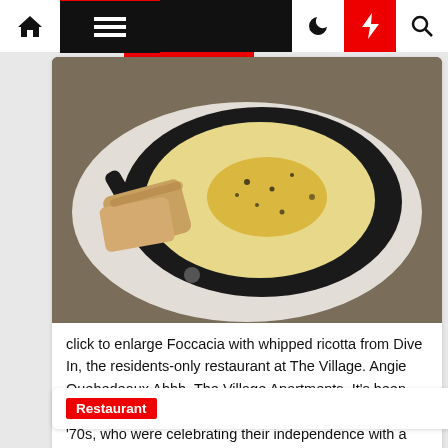Navigation bar with home, menu, moon, bolt, and search icons
[Figure (photo): Close-up photo of Foccacia with whipped ricotta in a cast iron skillet on a white plate]
click to enlarge Foccacia with whipped ricotta from Dive In, the residents-only restaurant at The Village. Angie Quebedeaux Ahhh, The Village Apartments. It's been “the place to be” for young single Dallasites since the ’70s, who were celebrating their independence with a […]
Restaurant